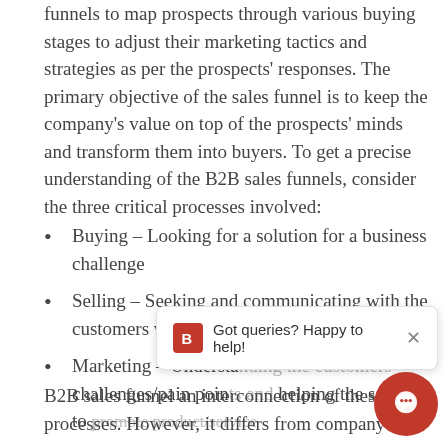funnels to map prospects through various buying stages to adjust their marketing tactics and strategies as per the prospects' responses. The primary objective of the sales funnel is to keep the company's value on top of the prospects' minds and transform them into buyers. To get a precise understanding of the B2B sales funnels, consider the three critical processes involved:
Buying – Looking for a solution for a business challenge
Selling – Seeking and communicating with the customers who are facing pain points
Marketing – Understanding the customers' challenges/pain points and helping the sellers to promote product/service
B2B sales funnel an interconnection of these three processes. However, it differs from company to company.